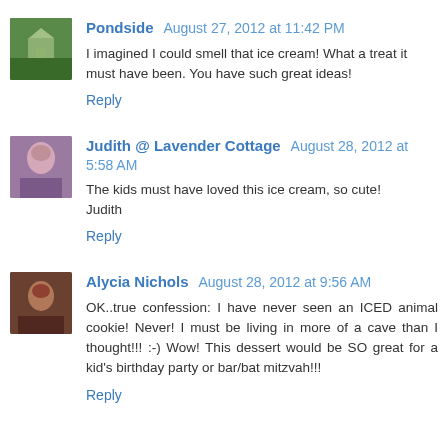Pondside  August 27, 2012 at 11:42 PM
I imagined I could smell that ice cream! What a treat it must have been. You have such great ideas!
Reply
Judith @ Lavender Cottage  August 28, 2012 at 5:58 AM
The kids must have loved this ice cream, so cute!
Judith
Reply
Alycia Nichols  August 28, 2012 at 9:56 AM
OK..true confession: I have never seen an ICED animal cookie! Never! I must be living in more of a cave than I thought!!! :-) Wow! This dessert would be SO great for a kid's birthday party or bar/bat mitzvah!!!
Reply